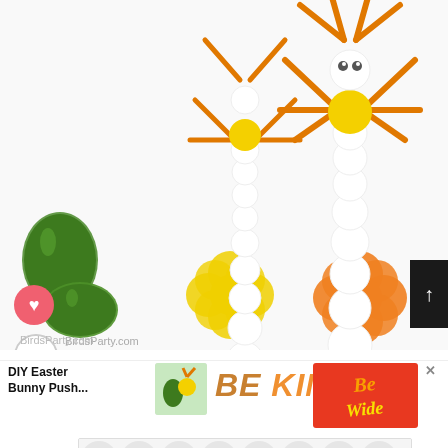[Figure (photo): DIY Easter bunny push-pop craft figures made from stacked wooden beads/balls with orange pipe cleaner arms and yellow pompom bodies, standing on foam flower bases (yellow and orange), with green glitter Easter eggs on a white background. Website watermark reads 'BirdsParty.com'. Social action buttons (heart/like and share) visible on left side.]
WHAT'S NEXT →
DIY Easter
Bunny Push...
[Figure (photo): Thumbnail image of DIY Easter Bunny push-pop craft with colorful decorations]
BE KIND
[Figure (illustration): Decorative red/orange script lettering advertisement]
[Figure (illustration): Bottom advertisement banner with polka dot pattern background and Woo logo]